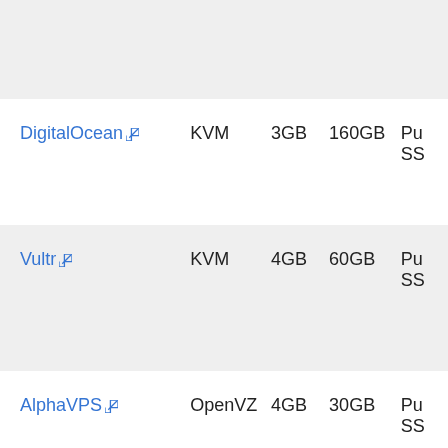| Provider | Virtualization | RAM | Disk | Type |
| --- | --- | --- | --- | --- |
| DigitalOcean | KVM | 3GB | 160GB | Pu... SS... |
| Vultr | KVM | 4GB | 60GB | Pu... SS... |
| AlphaVPS | OpenVZ | 4GB | 30GB | Pu... SS... |
| AlphaVPS | KVM | 4GB | 30GB | Pu... SS... |